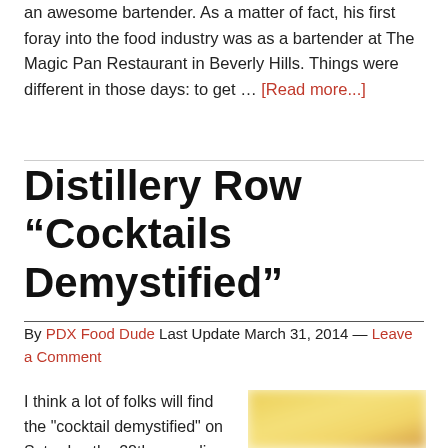an awesome bartender. As a matter of fact, his first foray into the food industry was as a bartender at The Magic Pan Restaurant in Beverly Hills. Things were different in those days: to get … [Read more...]
Distillery Row “Cocktails Demystified”
By PDX Food Dude Last Update March 31, 2014 — Leave a Comment
I think a lot of folks will find the "cocktail demystified" on Saturday the 28th appealing. Distillery Row is holding
[Figure (photo): A blurred yellow and orange gradient image, appearing to be a photo of a drink or cocktail-related scene.]